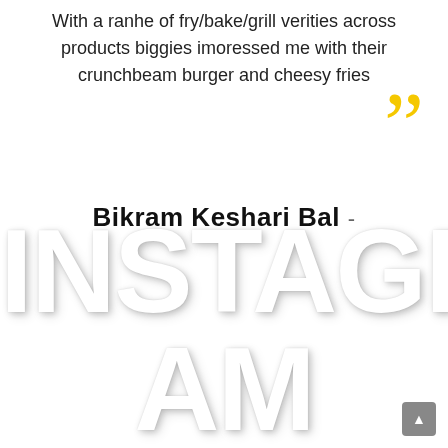With a ranhe of fry/bake/grill verities across products biggies imoressed me with their crunchbeam burger and cheesy fries
[Figure (illustration): Large yellow closing double quotation mark graphic]
Bikram Keshari Bal -
[Figure (illustration): Large bold white text reading INSTAGRAM displayed in two lines: INSTAGR and AM, with subtle drop shadow, overlaid on white background]